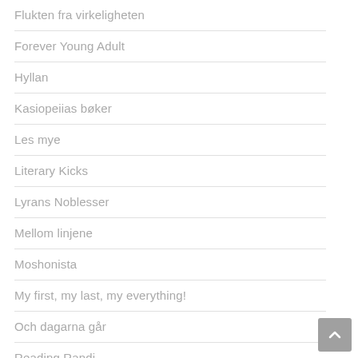Flukten fra virkeligheten
Forever Young Adult
Hyllan
Kasiopeiias bøker
Les mye
Literary Kicks
Lyrans Noblesser
Mellom linjene
Moshonista
My first, my last, my everything!
Och dagarna går
Reading Randi